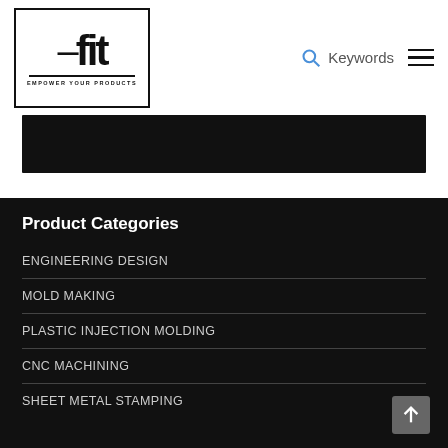[Figure (logo): FIT logo with 'EMPOWER YOUR PRODUCTS' tagline in a rectangular border]
Keywords  ☰
[Figure (photo): Black banner image strip]
Product Categories
ENGINEERING DESIGN
MOLD MAKING
PLASTIC INJECTION MOLDING
CNC MACHINING
SHEET METAL STAMPING